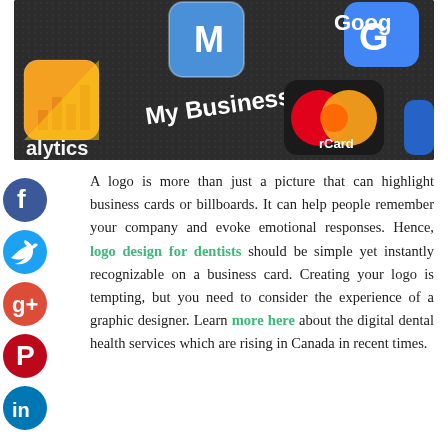[Figure (photo): Close-up of smartphone screen showing app icons including Google Analytics (orange), Google My Business (blue), Google (blue), Mastercard (red/yellow), and other apps on a dark dotted background.]
A logo is more than just a picture that can highlight business cards or billboards. It can help people remember your company and evoke emotional responses. Hence, logo design for dentists should be simple yet instantly recognizable on a business card. Creating your logo is tempting, but you need to consider the experience of a graphic designer. Learn more here about the digital dental health services which are rising in Canada in recent times.